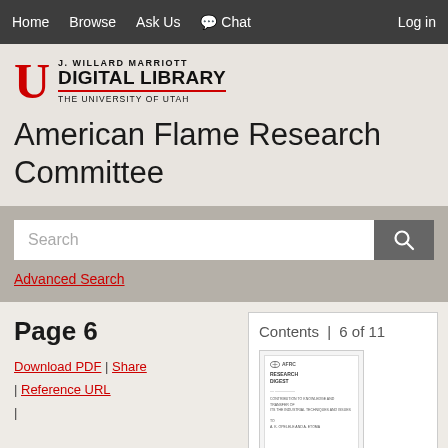Home   Browse   Ask Us   Chat   Log in
[Figure (logo): J. Willard Marriott Digital Library logo with University of Utah U mark in red]
American Flame Research Committee
Search
Advanced Search
Page 6
Download PDF | Share | Reference URL |
Contents | 6 of 11
[Figure (screenshot): Thumbnail of a document page showing Research Digest cover]